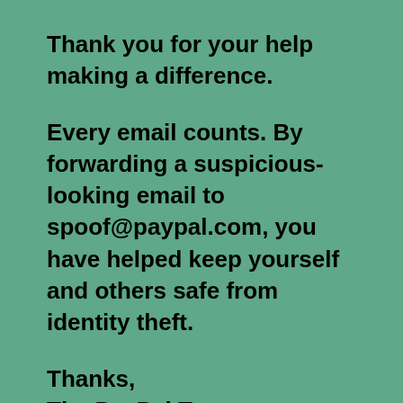Thank you for your help making a difference.
Every email counts. By forwarding a suspicious-looking email to spoof@paypal.com, you have helped keep yourself and others safe from identity theft.
Thanks,
The PayPal Team